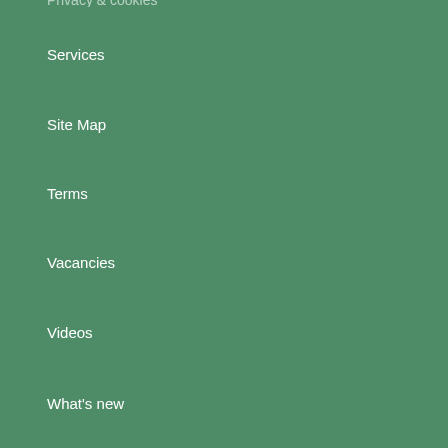Privacy & cookies
Services
Site Map
Terms
Vacancies
Videos
What's new
Brands
Alstons Upholstery
Billib Clocks
Dunlopillo
Harrison Beds
Himolla
Hypnos
Kindred